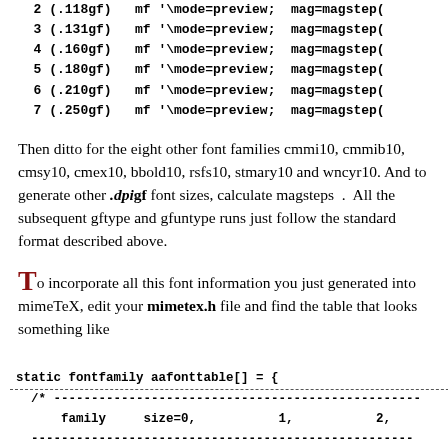2 (.118gf)  mf '\mode=preview; mag=magstep(
3 (.131gf)  mf '\mode=preview; mag=magstep(
4 (.160gf)  mf '\mode=preview; mag=magstep(
5 (.180gf)  mf '\mode=preview; mag=magstep(
6 (.210gf)  mf '\mode=preview; mag=magstep(
7 (.250gf)  mf '\mode=preview; mag=magstep(
Then ditto for the eight other font families cmmi10, cmmib10, cmsy10, cmex10, bbold10, rsfs10, stmary10 and wncyr10. And to generate other .dpi gf font sizes, calculate magsteps . All the subsequent gftype and gfuntype runs just follow the standard format described above.
To incorporate all this font information you just generated into mimeTeX, edit your mimetex.h file and find the table that looks something like
static fontfamily aafonttable[] = {
  /* ---...
      family    size=0,          1,          2,          3,
  ---...
  {  CMR10,{   cmr83,      cmr100,     cmr118,     cmr131,
  { CMMI10,{  cmmi83,     cmmi100,    cmmi118,    cmmi131,
  { CMMIB10,{ cmmib83,    cmmib100,   cmmib118,   cmmib131,